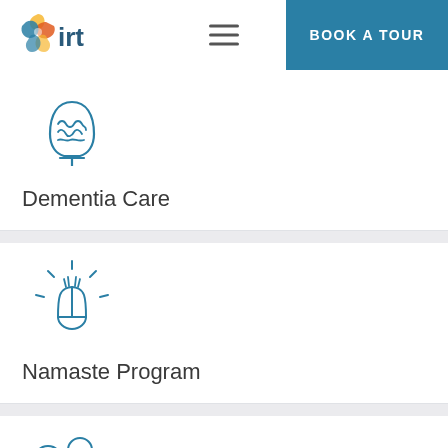IRT — BOOK A TOUR
[Figure (illustration): Brain/head outline icon representing dementia care]
Dementia Care
[Figure (illustration): Praying hands with rays icon representing Namaste Program]
Namaste Program
[Figure (illustration): Doctor with clock icon representing a medical care service]